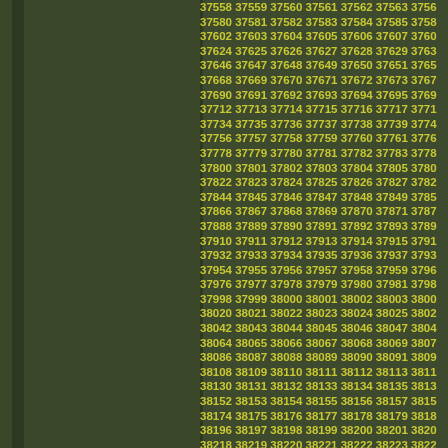Sequential numbers from 37558 to 38355+, displayed in rows of 7 numbers each on a dark olive/green background